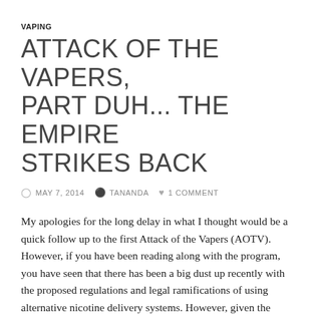VAPING
ATTACK OF THE VAPERS, PART DUH... THE EMPIRE STRIKES BACK
MAY 7, 2014  TANANDA  1 COMMENT
My apologies for the long delay in what I thought would be a quick follow up to the first Attack of the Vapers (AOTV). However, if you have been reading along with the program, you have seen that there has been a big dust up recently with the proposed regulations and legal ramifications of using alternative nicotine delivery systems. However, given the timeline of the Federal Food and Drug Administration decisions, I decided to stop procrastinating and get this out there to maybe provide some information and encourage